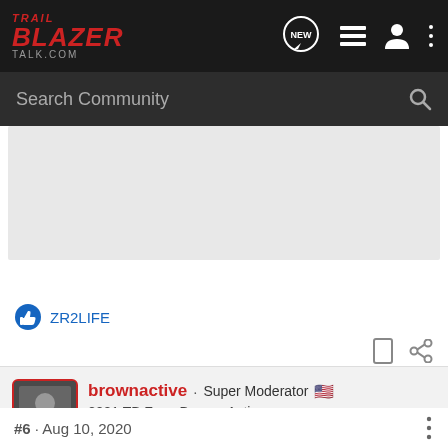Trail Blazer Talk.com
Search Community
[Figure (other): Advertisement or content placeholder area (gray rectangle)]
ZR2LIFE
brownactive · Super Moderator
2021 TB Zues Bronze Activ
Joined Jun 9, 2020 · 812 Posts
#6 · Aug 10, 2020